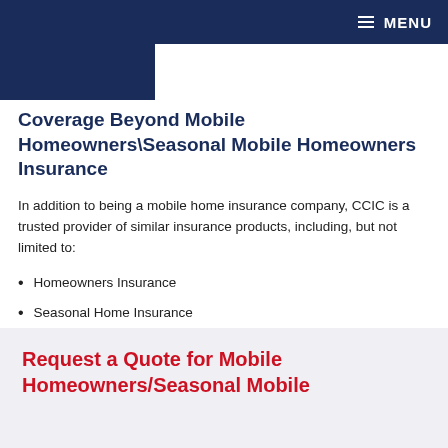MENU
Coverage Beyond Mobile Homeowners\Seasonal Mobile Homeowners Insurance
In addition to being a mobile home insurance company, CCIC is a trusted provider of similar insurance products, including, but not limited to:
Homeowners Insurance
Seasonal Home Insurance
Dwelling Fire Insurance
Request a Quote for Mobile Homeowners/Seasonal Mobile